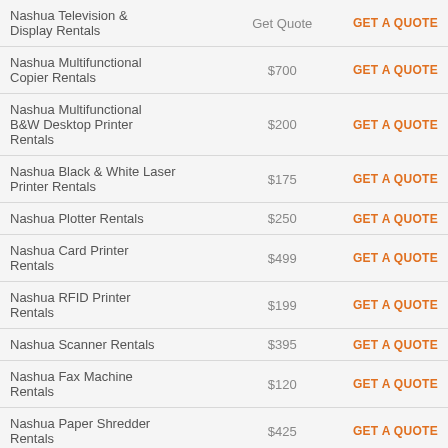| Product | Price | Action |
| --- | --- | --- |
| Nashua Television & Display Rentals | Get Quote | GET A QUOTE |
| Nashua Multifunctional Copier Rentals | $700 | GET A QUOTE |
| Nashua Multifunctional B&W Desktop Printer Rentals | $200 | GET A QUOTE |
| Nashua Black & White Laser Printer Rentals | $175 | GET A QUOTE |
| Nashua Plotter Rentals | $250 | GET A QUOTE |
| Nashua Card Printer Rentals | $499 | GET A QUOTE |
| Nashua RFID Printer Rentals | $199 | GET A QUOTE |
| Nashua Scanner Rentals | $395 | GET A QUOTE |
| Nashua Fax Machine Rentals | $120 | GET A QUOTE |
| Nashua Paper Shredder Rentals | $425 | GET A QUOTE |
| Nashua Server Rentals | Get Quote | GET A QUOTE |
| Nashua WiFi Hotspot Rentals | $250 | GET A QUOTE |
| Nashua Copier Rentals | $65 | GET A QUOTE |